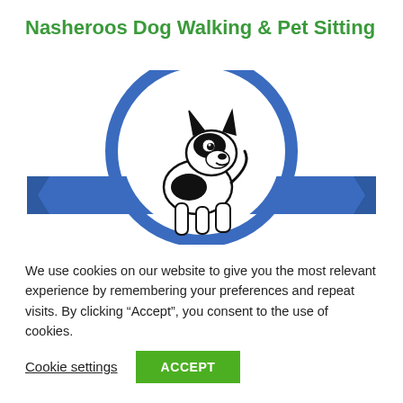Nasheroos Dog Walking & Pet Sitting
[Figure (logo): Nasheroos Dog Walking & Pet Sitting logo: a black and white cartoon dog (small dog with pointed ears, looking right) inside a blue circle with blue ribbon/banner across the middle]
We use cookies on our website to give you the most relevant experience by remembering your preferences and repeat visits. By clicking “Accept”, you consent to the use of cookies.
Cookie settings
ACCEPT